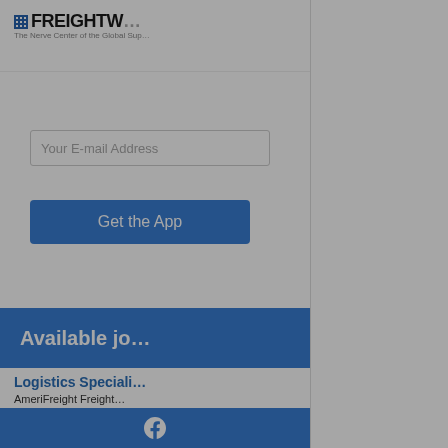[Figure (screenshot): FreightWaves website background with logo, email input, Get the App button, Available Jobs section, Logistics Specialist job listing, and Facebook footer]
[Figure (screenshot): FreightWaves Autonomous & Electric Vehicles Summit advertisement banner with REGISTER NOW button and truck illustration]
Autonomous & Electric Vehicles Summit | Sept. 7, 2022
Join us as experts discuss innovations in electrification and autonomous trucking
REGISTER NOW!